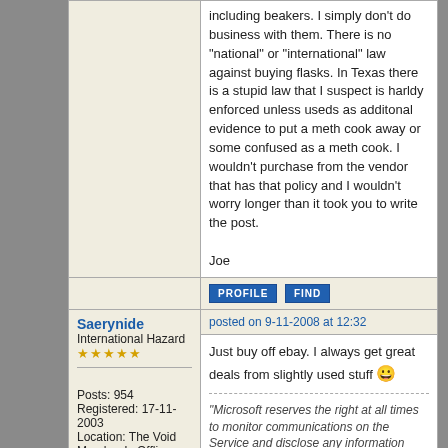including beakers. I simply don't do business with them. There is no "national" or "international" law against buying flasks. In Texas there is a stupid law that I suspect is harldy enforced unless useds as additonal evidence to put a meth cook away or some confused as a meth cook. I wouldn't purchase from the vendor that has that policy and I wouldn't worry longer than it took you to write the post.

Joe
PROFILE   FIND
Saerynide
International Hazard
★★★★★
Posts: 954
Registered: 17-11-2003
Location: The Void
Member Is Offline
Mood: Ionic
posted on 9-11-2008 at 12:32
Just buy off ebay. I always get great deals from slightly used stuff 😀
"Microsoft reserves the right at all times to monitor communications on the Service and disclose any information Microsoft deems necessary to... satisfy any applicable law, regulation or legal process"
PROFILE   FIND